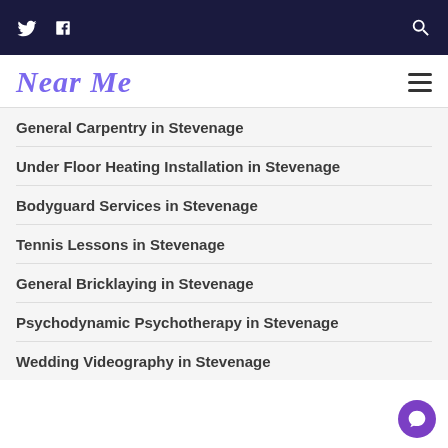Near Me — top navigation bar with Twitter, Facebook, and search icons
Near Me
General Carpentry in Stevenage
Under Floor Heating Installation in Stevenage
Bodyguard Services in Stevenage
Tennis Lessons in Stevenage
General Bricklaying in Stevenage
Psychodynamic Psychotherapy in Stevenage
Wedding Videography in Stevenage